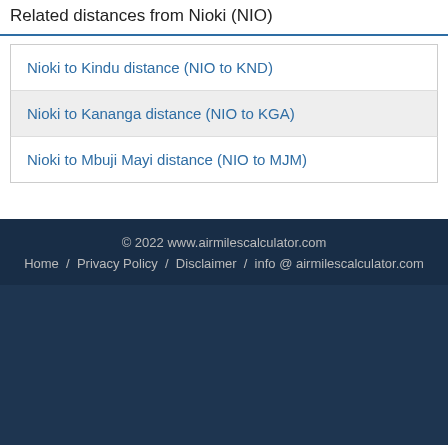Related distances from Nioki (NIO)
Nioki to Kindu distance (NIO to KND)
Nioki to Kananga distance (NIO to KGA)
Nioki to Mbuji Mayi distance (NIO to MJM)
© 2022 www.airmilescalculator.com  Home / Privacy Policy / Disclaimer / info @ airmilescalculator.com